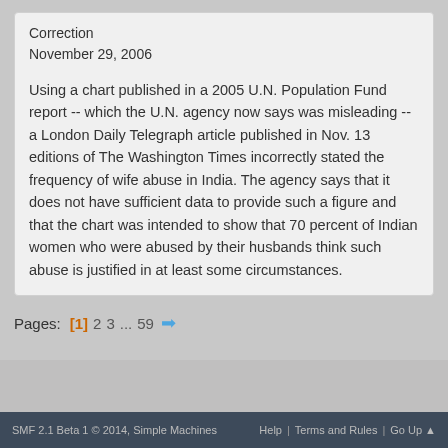Correction
November 29, 2006
Using a chart published in a 2005 U.N. Population Fund report -- which the U.N. agency now says was misleading -- a London Daily Telegraph article published in Nov. 13 editions of The Washington Times incorrectly stated the frequency of wife abuse in India. The agency says that it does not have sufficient data to provide such a figure and that the chart was intended to show that 70 percent of Indian women who were abused by their husbands think such abuse is justified in at least some circumstances.
Pages: [1] 2 3 ... 59 →
SMF 2.1 Beta 1 © 2014, Simple Machines | Help | Terms and Rules | Go Up ▲